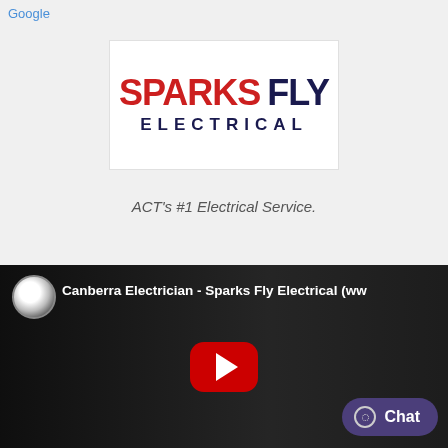Google
[Figure (logo): Sparks Fly Electrical logo — SPARKS in bold red, FLY in bold dark navy, ELECTRICAL in spaced dark navy capitals below]
ACT's #1 Electrical Service.
[Figure (screenshot): YouTube video thumbnail showing 'Canberra Electrician - Sparks Fly Electrical (ww...' with a YouTube play button overlay, dark interior scene, and a purple Chat button in the bottom-right corner]